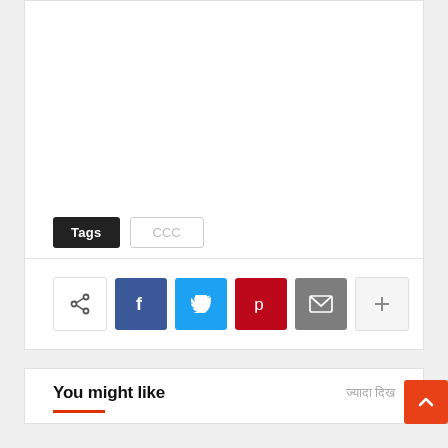[blank content area]
Tags  CCC
[Figure (infographic): Social share bar with share icon, Facebook (f), Twitter bird, Pinterest (p), Email (envelope), and plus (+) button]
You might like
ज्यादा दिखा